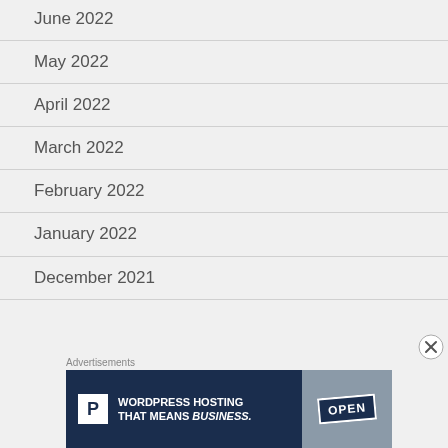June 2022
May 2022
April 2022
March 2022
February 2022
January 2022
December 2021
Advertisements
[Figure (other): Advertisement banner for WordPress Hosting: 'WORDPRESS HOSTING THAT MEANS BUSINESS.' with a P icon on the left and an OPEN sign photo on the right]